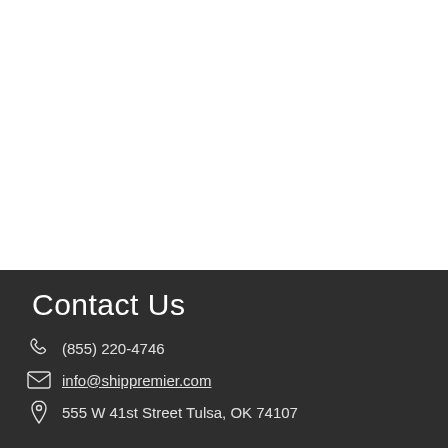Contact Us
(855) 220-4746
info@shippremier.com
555 W 41st Street Tulsa, OK 74107